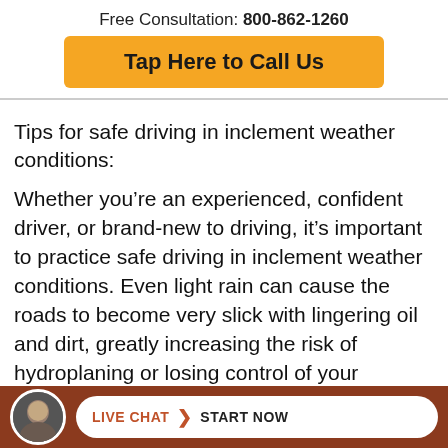Free Consultation: 800-862-1260
[Figure (other): Orange call-to-action button: Tap Here to Call Us]
Tips for safe driving in inclement weather conditions:
Whether you’re an experienced, confident driver, or brand-new to driving, it’s important to practice safe driving in inclement weather conditions. Even light rain can cause the roads to become very slick with lingering oil and dirt, greatly increasing the risk of hydroplaning or losing control of your vehicle. Additionally, our beautiful San Antonio hill country has many areas...
[Figure (other): Brown footer bar with circular avatar photo of a man and a white pill-shaped Live Chat > Start Now button]